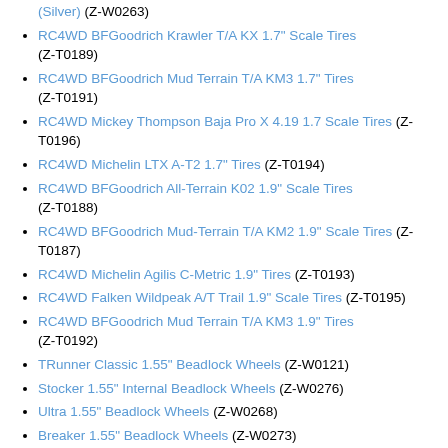(Silver) (Z-W0263)
RC4WD BFGoodrich Krawler T/A KX 1.7" Scale Tires (Z-T0189)
RC4WD BFGoodrich Mud Terrain T/A KM3 1.7" Tires (Z-T0191)
RC4WD Mickey Thompson Baja Pro X 4.19 1.7 Scale Tires (Z-T0196)
RC4WD Michelin LTX A-T2 1.7" Tires (Z-T0194)
RC4WD BFGoodrich All-Terrain K02 1.9" Scale Tires (Z-T0188)
RC4WD BFGoodrich Mud-Terrain T/A KM2 1.9" Scale Tires (Z-T0187)
RC4WD Michelin Agilis C-Metric 1.9" Tires (Z-T0193)
RC4WD Falken Wildpeak A/T Trail 1.9" Scale Tires (Z-T0195)
RC4WD BFGoodrich Mud Terrain T/A KM3 1.9" Tires (Z-T0192)
TRunner Classic 1.55" Beadlock Wheels (Z-W0121)
Stocker 1.55" Internal Beadlock Wheels (Z-W0276)
Ultra 1.55" Beadlock Wheels (Z-W0268)
Breaker 1.55" Beadlock Wheels (Z-W0273)
OEM Stamped Steel 1.55" Beadlock Wheels (Plain) (Z-